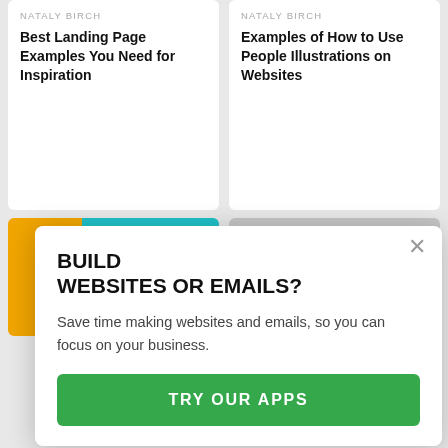NATALY BIRCH
Best Landing Page Examples You Need for Inspiration
NATALY BIRCH
Examples of How to Use People Illustrations on Websites
[Figure (screenshot): Thumbnail with orange and teal background, badge reading INSPIRATION • WEB...]
[Figure (screenshot): Thumbnail with gray background and colored icons, badge reading INSPIRATION • WEB...]
BUILD WEBSITES OR EMAILS?
Save time making websites and emails, so you can focus on your business.
TRY OUR APPS